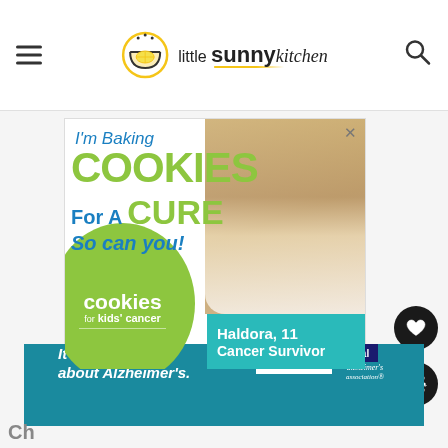[Figure (logo): Little Sunny Kitchen website header with hamburger menu icon on left, logo in center (bowl icon + 'little sunny kitchen' text), search icon on right]
[Figure (infographic): Cookies for Kids' Cancer advertisement. Text: 'I'm Baking COOKIES For A CURE So can you!' with green circle logo 'cookies for kids' cancer' and teal box 'Haldora, 11 Cancer Survivor'. Photo of smiling girl holding cookies.]
[Figure (infographic): Alzheimer's Association advertisement banner. Text: 'It's time to talk about Alzheimer's.' with LEARN MORE button and Alzheimer's Association logo. Close button top right.]